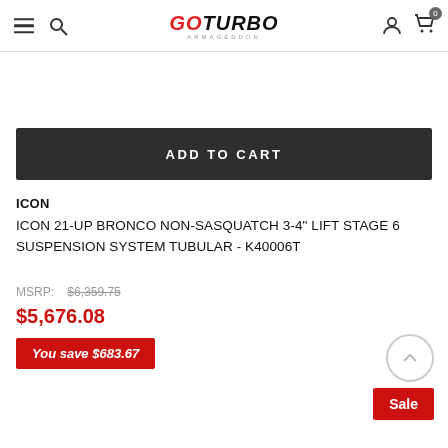GOTURBO ARMAGEDDON — navigation header with hamburger menu, search, logo, user icon, cart (0)
ADD TO CART
ICON
ICON 21-UP BRONCO NON-SASQUATCH 3-4" LIFT STAGE 6 SUSPENSION SYSTEM TUBULAR - K40006T
MSRP: $6,359.75
$5,676.08
You save $683.67
Sale